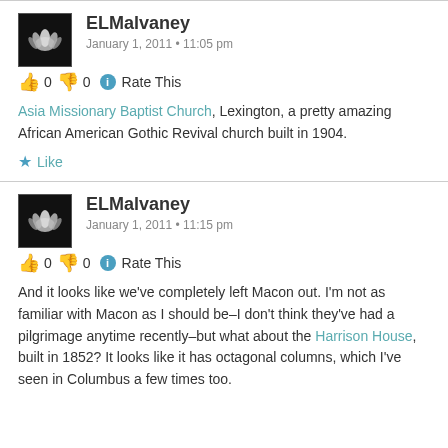ELMalvaney
January 1, 2011 • 11:05 pm
👍 0 👎 0 ℹ Rate This
Asia Missionary Baptist Church, Lexington, a pretty amazing African American Gothic Revival church built in 1904.
★ Like
ELMalvaney
January 1, 2011 • 11:15 pm
👍 0 👎 0 ℹ Rate This
And it looks like we've completely left Macon out. I'm not as familiar with Macon as I should be–I don't think they've had a pilgrimage anytime recently–but what about the Harrison House, built in 1852? It looks like it has octagonal columns, which I've seen in Columbus a few times too.